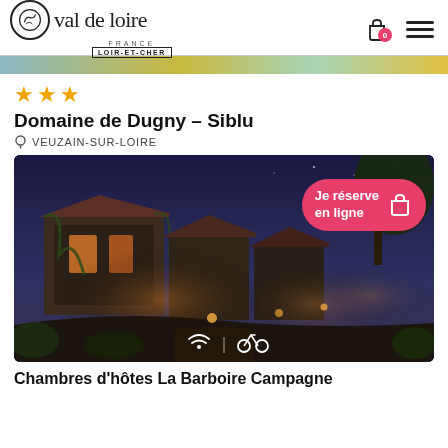Val de Loire France - Loir-et-Cher
[Figure (screenshot): Partial banner image strip at top, colorful blurred background]
★★★
Domaine de Dugny – Siblu
VEUZAIN-SUR-LOIRE
[Figure (photo): Night photo of stone country house/domaine with warm lit windows, surrounded by vegetation, dusk blue sky. Button overlay: 'Je réserve en ligne'. Icons at bottom: wifi and bicycle.]
Chambres d'hôtes La Barboire Campagne